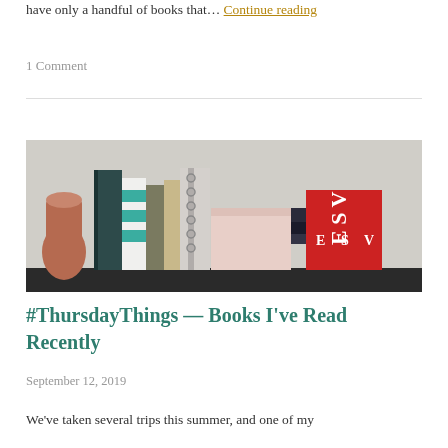have only a handful of books that… Continue reading
1 Comment
[Figure (photo): A shelf of books including a dark green book, teal striped book, spiral notebook, pink box, dark notebooks, and a red ESV Bible, with a copper/rose gold candle holder on the left.]
#ThursdayThings — Books I've Read Recently
September 12, 2019
We've taken several trips this summer, and one of my